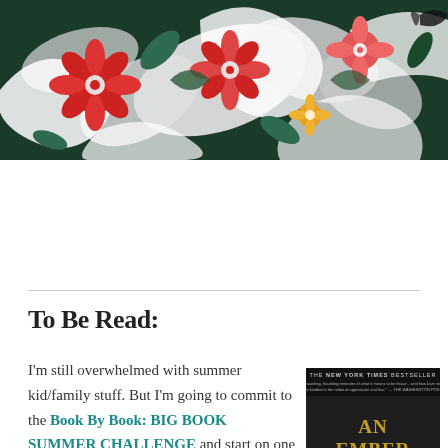[Figure (illustration): Decorative floral illustration with red, pink flowers and green leaves on dark background, header banner for a blog]
To Be Read:
I'm still overwhelmed with summer kid/family stuff. But I'm going to commit to the Book By Book: BIG BOOK SUMMER CHALLENGE and start on one of my "big books" that has been
[Figure (photo): Book cover of 'An Ember in the Ashes' by Sabaa Tahir, New York Times bestseller, dark cover with golden yellow title text]